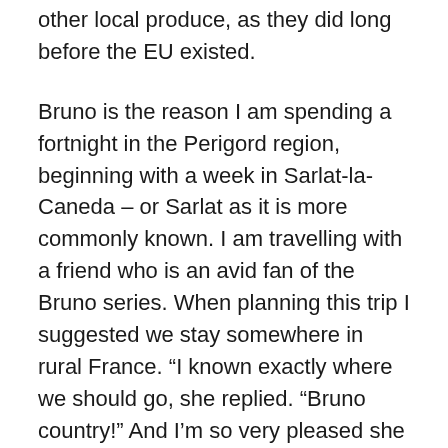other local produce, as they did long before the EU existed.
Bruno is the reason I am spending a fortnight in the Perigord region, beginning with a week in Sarlat-la-Caneda – or Sarlat as it is more commonly known. I am travelling with a friend who is an avid fan of the Bruno series. When planning this trip I suggested we stay somewhere in rural France. “I known exactly where we should go, she replied. “Bruno country!” And I’m so very pleased she did.
Sarlat sits in the Perigord Noir region of south-west France and is one of the most charming towns I’ve ever visited. It was established in the ninth century by Benedictine monks and most of the buildings in the old